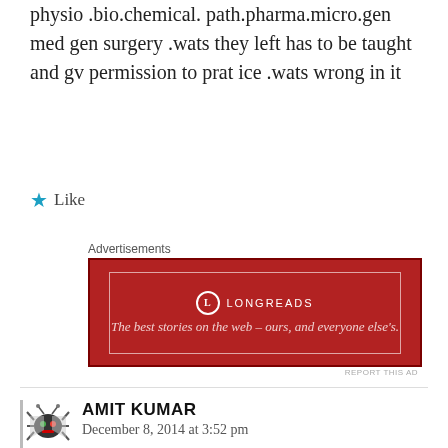physio .bio.chemical. path.pharma.micro.gen med gen surgery .wats they left has to be taught and gv permission to prat ice .wats wrong in it
Like
Advertisements
[Figure (other): Longreads advertisement banner: red background with white border, logo and tagline 'The best stories on the web – ours, and everyone else's.']
AMIT KUMAR
December 8, 2014 at 3:52 pm
13  0  Rate This
i love dentistry n nd love to hlp othts...right now in 3 rd yr we have already learnt a hell lot about drugs of genreal trtmnts along with this we are learning the art of dental trtmnt nd associated drugs nd thats